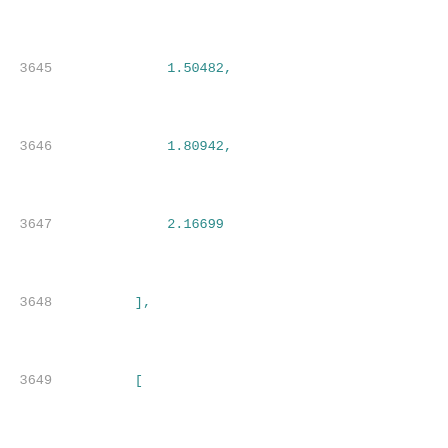3645    1.50482,
3646    1.80942,
3647    2.16699
3648  ],
3649  [
3650    0.01299,
3651    0.04195,
3652    0.04819,
3653    0.05564,
3654    0.06469,
3655    0.07595,
3656    0.08934,
3657    0.10517,
3658    0.1246,
3659    0.14766,
3660    0.17573,
3661    0.20946,
3662    0.24941,
3663    0.29896,
3664    0.35661,
3665    0.42687,
3666    0.50...